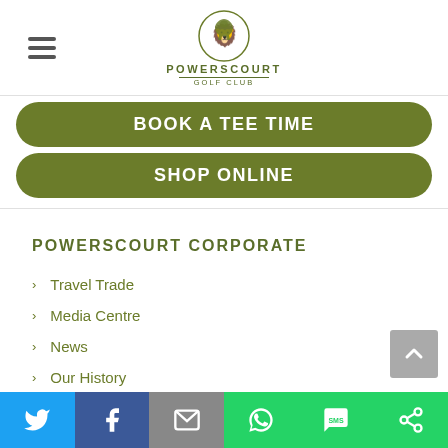[Figure (logo): Powerscourt Golf Club logo with rampant lion figure in circular badge, text POWERSCOURT GOLF CLUB below]
BOOK A TEE TIME
SHOP ONLINE
POWERSCOURT CORPORATE
Travel Trade
Media Centre
News
Our History
[Figure (infographic): Social sharing bar at bottom with Twitter, Facebook, Email, WhatsApp, SMS, and more options icons]